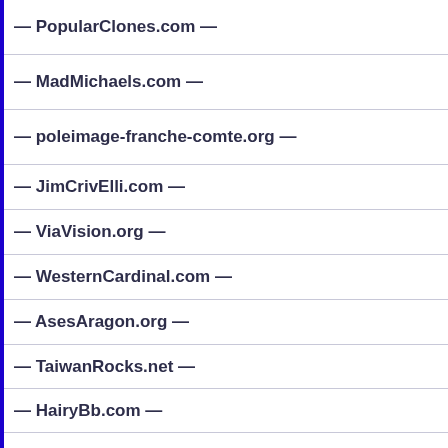— PopularClones.com —
— MadMichaels.com —
— poleimage-franche-comte.org —
— JimCrivElli.com —
— ViaVision.org —
— WesternCardinal.com —
— AsesAragon.org —
— TaiwanRocks.net —
— HairyBb.com —
— PotDeli.org —
— Ermedi.com